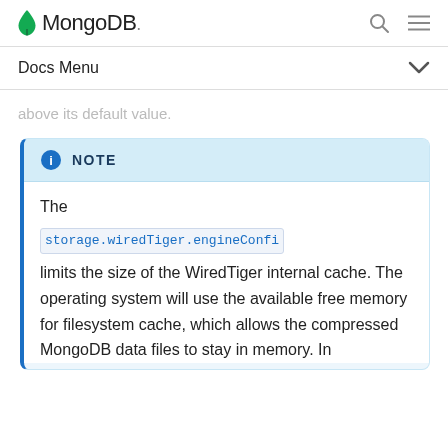MongoDB
Docs Menu
above its default value.
NOTE
The storage.wiredTiger.engineConfig limits the size of the WiredTiger internal cache. The operating system will use the available free memory for filesystem cache, which allows the compressed MongoDB data files to stay in memory. In